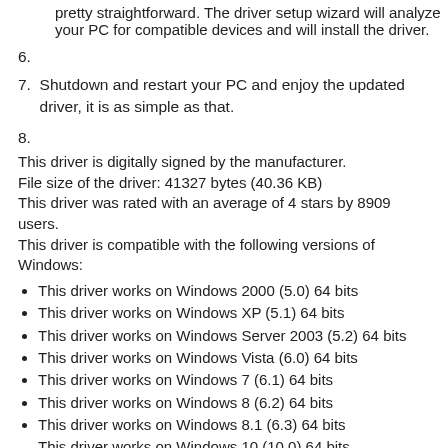pretty straightforward. The driver setup wizard will analyze your PC for compatible devices and will install the driver.
6.
7. Shutdown and restart your PC and enjoy the updated driver, it is as simple as that.
8.
This driver is digitally signed by the manufacturer.
File size of the driver: 41327 bytes (40.36 KB)
This driver was rated with an average of 4 stars by 8909 users.
This driver is compatible with the following versions of Windows:
This driver works on Windows 2000 (5.0) 64 bits
This driver works on Windows XP (5.1) 64 bits
This driver works on Windows Server 2003 (5.2) 64 bits
This driver works on Windows Vista (6.0) 64 bits
This driver works on Windows 7 (6.1) 64 bits
This driver works on Windows 8 (6.2) 64 bits
This driver works on Windows 8.1 (6.3) 64 bits
This driver works on Windows 10 (10.0) 64 bits